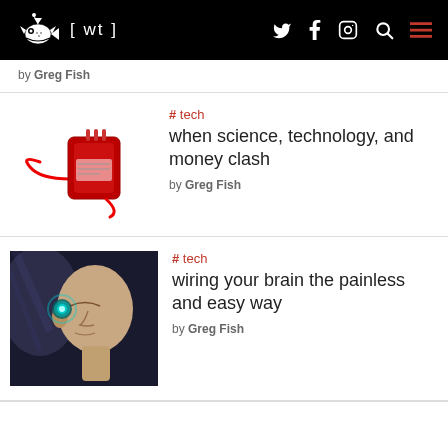[ wt ]
by Greg Fish
# tech
when science, technology, and money clash
by Greg Fish
# tech
wiring your brain the painless and easy way
by Greg Fish